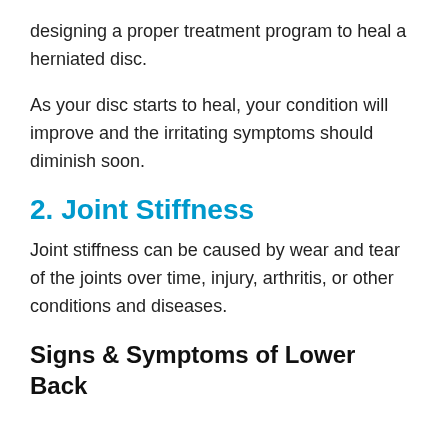designing a proper treatment program to heal a herniated disc.
As your disc starts to heal, your condition will improve and the irritating symptoms should diminish soon.
2. Joint Stiffness
Joint stiffness can be caused by wear and tear of the joints over time, injury, arthritis, or other conditions and diseases.
Signs & Symptoms of Lower Back